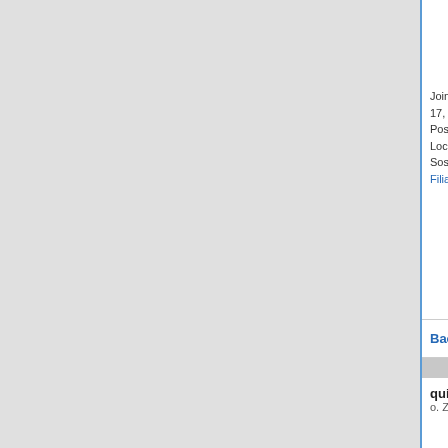Dla mnie najlepiej 17:30.
Joined: czerw 17, 2014
Posts: 276
Location: Sosnowiec
Filia Śląska
Back to top
quidamcorvus
o. Założyciel
Post subject: Kampania Warheim - w
Posted: Śr grud 07, 2016 01:34 PM
Ja w czwartek będę od 15.00. O
++ Nowe F
Joined: marca 06, 2011
Posts: 8646
Location: Katowice/Żory, śląskie
Filia Śląska
Back to top
Krnabrny
Widzący
Post subject: Kampania Warheim - w
Posted: Śr grud 07, 2016 01:39 PM